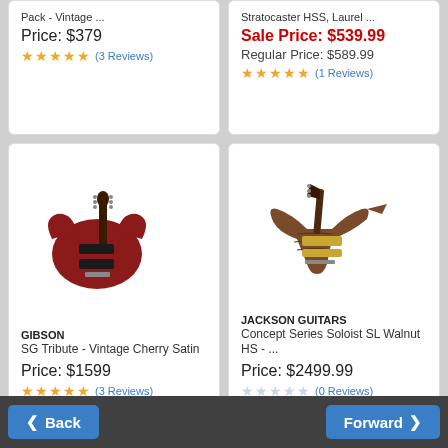Pack - Vintage ...
Price: $379
★★★★★ (3 Reviews)
Stratocaster HSS, Laurel ...
Sale Price: $539.99
Regular Price: $589.99
★★★★★ (1 Reviews)
[Figure (photo): Gibson SG Tribute electric guitar in Vintage Cherry Satin finish]
GIBSON
SG Tribute - Vintage Cherry Satin
Price: $1599
★★★★★ (3 Reviews)
[Figure (photo): Jackson Guitars Concept Series Soloist SL Walnut HS electric guitar in brown walnut finish]
JACKSON GUITARS
Concept Series Soloist SL Walnut HS - ...
Price: $2499.99
☆☆☆☆☆ (0 Reviews)
Back
Forward